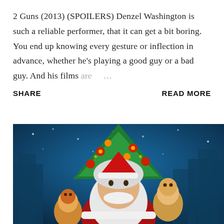2 Guns (2013) (SPOILERS) Denzel Washington is such a reliable performer, that it can get a bit boring. You end up knowing every gesture or inflection in advance, whether he's playing a good guy or a bad guy. And his films are …
SHARE    READ MORE
[Figure (photo): Movie poster or promotional image showing a man with a large white beard and gray hair dressed as Santa Claus, surrounded by animated elf characters, Christmas ornaments, a decorated Christmas tree with lights, and a snowy city background.]